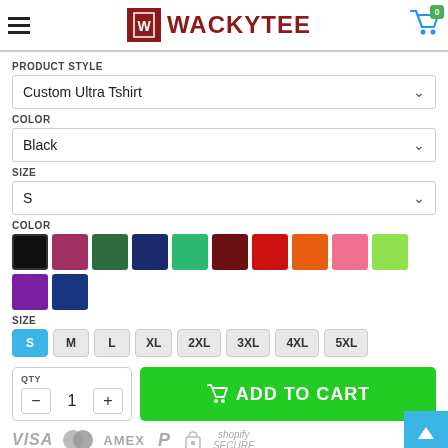[Figure (screenshot): WackyTee e-commerce website header with hamburger menu, logo, and cart icon showing 0 items]
PRODUCT STYLE
Custom Ultra Tshirt
COLOR
Black
SIZE
S
COLOR
[Figure (infographic): Color swatches: Black (selected), Rose/Pink, Dark Green, Navy, Teal/Green, Dark Red, Red, Orange, Pink, Light Green, Purple, Dark Navy]
SIZE
[Figure (infographic): Size buttons: S (selected, blue), M, L, XL, 2XL, 3XL, 4XL, 5XL]
QTY
ADD TO CART
[Figure (infographic): Payment method icons: VISA, Mastercard, AMEX, PayPal, lock icon, Shopify Secure]